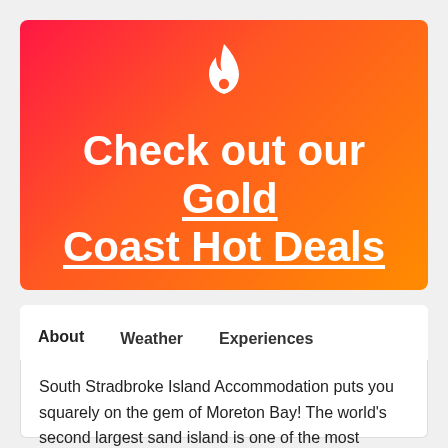[Figure (illustration): Red to orange gradient banner with a white flame icon at top center and large white bold text reading 'Check out our Gold Coast Hot Deals' with underline on 'Gold Coast Hot Deals']
About   Weather   Experiences
South Stradbroke Island Accommodation puts you squarely on the gem of Moreton Bay! The world's second largest sand island is one of the most naturally stunning